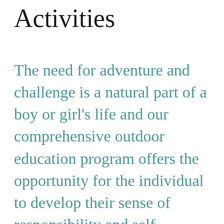Activities
The need for adventure and challenge is a natural part of a boy or girl's life and our comprehensive outdoor education program offers the opportunity for the individual to develop their sense of responsibility and self confidence through areas such as abseiling, whitewater kayaking and bivouacs.